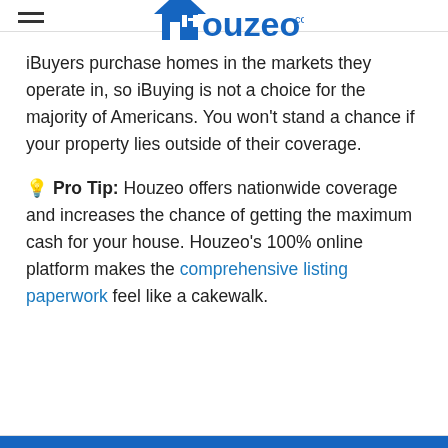Houzeo.com
iBuyers purchase homes in the markets they operate in, so iBuying is not a choice for the majority of Americans. You won't stand a chance if your property lies outside of their coverage.
💡 Pro Tip: Houzeo offers nationwide coverage and increases the chance of getting the maximum cash for your house. Houzeo's 100% online platform makes the comprehensive listing paperwork feel like a cakewalk.